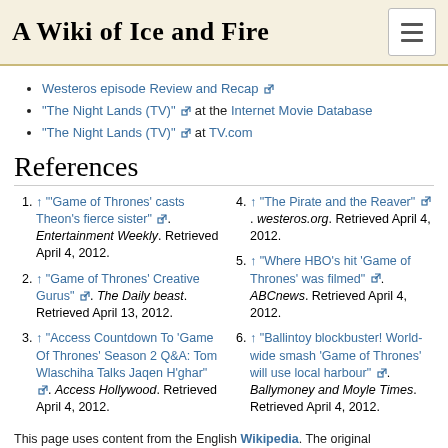A Wiki of Ice and Fire
Westeros episode Review and Recap [external link]
"The Night Lands (TV)" [external link] at the Internet Movie Database
"The Night Lands (TV)" [external link] at TV.com
References
1. ↑ "'Game of Thrones' casts Theon's fierce sister" [external link]. Entertainment Weekly. Retrieved April 4, 2012.
2. ↑ "Game of Thrones' Creative Gurus" [external link]. The Daily beast. Retrieved April 13, 2012.
3. ↑ "Access Countdown To 'Game Of Thrones' Season 2 Q&A: Tom Wlaschiha Talks Jaqen H'ghar" [external link]. Access Hollywood. Retrieved April 4, 2012.
4. ↑ "The Pirate and the Reaver" [external link]. westeros.org. Retrieved April 4, 2012.
5. ↑ "Where HBO's hit 'Game of Thrones' was filmed" [external link]. ABCnews. Retrieved April 4, 2012.
6. ↑ "Ballintoy blockbuster! World-wide smash 'Game of Thrones' will use local harbour" [external link]. Ballymoney and Moyle Times. Retrieved April 4, 2012.
This page uses content from the English Wikipedia. The original